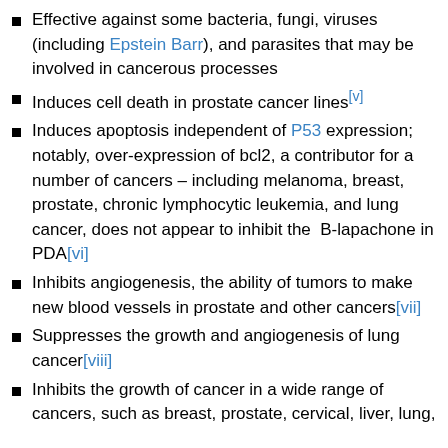Effective against some bacteria, fungi, viruses (including Epstein Barr), and parasites that may be involved in cancerous processes
Induces cell death in prostate cancer lines[v]
Induces apoptosis independent of P53 expression; notably, over-expression of bcl2, a contributor for a number of cancers – including melanoma, breast, prostate, chronic lymphocytic leukemia, and lung cancer, does not appear to inhibit the  B-lapachone in PDA[vi]
Inhibits angiogenesis, the ability of tumors to make new blood vessels in prostate and other cancers[vii]
Suppresses the growth and angiogenesis of lung cancer[viii]
Inhibits the growth of cancer in a wide range of cancers, such as breast, prostate, cervical, liver, lung,